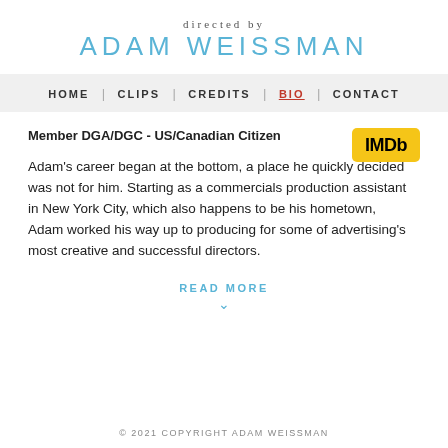directed by
ADAM WEISSMAN
HOME | CLIPS | CREDITS | BIO | CONTACT
Member DGA/DGC - US/Canadian Citizen
[Figure (logo): IMDb logo — yellow rectangle with black bold text 'IMDb']
Adam's career began at the bottom, a place he quickly decided was not for him. Starting as a commercials production assistant in New York City, which also happens to be his hometown, Adam worked his way up to producing for some of advertising's most creative and successful directors.
READ MORE
© 2021 COPYRIGHT ADAM WEISSMAN